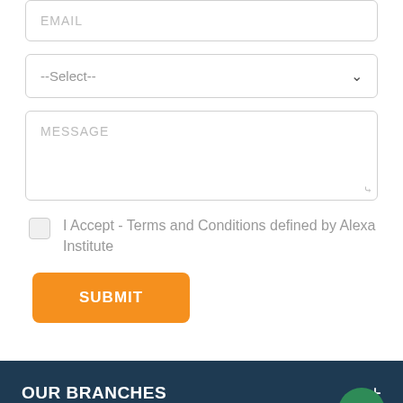EMAIL
--Select--
MESSAGE
I Accept - Terms and Conditions defined by Alexa Institute
SUBMIT
OUR BRANCHES
COURSES